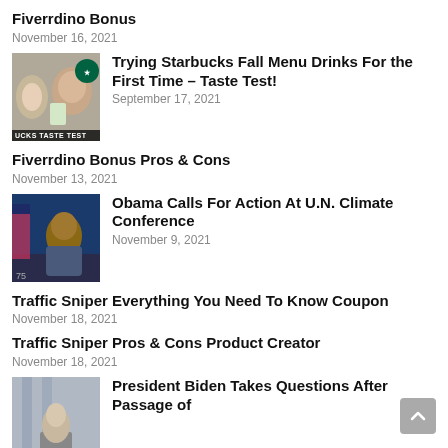Fiverrdino Bonus
November 16, 2021
[Figure (photo): Thumbnail image for Starbucks taste test article showing a man tasting a drink with Starbucks logo in background, labeled UCKS TASTE TEST]
Trying Starbucks Fall Menu Drinks For the First Time – Taste Test!
September 17, 2021
Fiverrdino Bonus Pros & Cons
November 13, 2021
[Figure (photo): Thumbnail image of Obama speaking at a podium with blue background and flag]
Obama Calls For Action At U.N. Climate Conference
November 9, 2021
Traffic Sniper Everything You Need To Know Coupon
November 18, 2021
Traffic Sniper Pros & Cons Product Creator
November 18, 2021
[Figure (photo): Thumbnail image of President Biden at a podium with American flags]
President Biden Takes Questions After Passage of